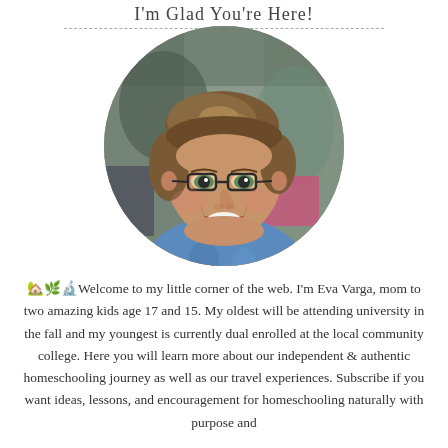I'm Glad You're Here!
[Figure (photo): Circular cropped portrait photo of a smiling middle-aged woman with short brown hair and glasses, wearing a blue patterned top, with a blurred background]
🏡🌿🔬Welcome to my little corner of the web. I'm Eva Varga, mom to two amazing kids age 17 and 15. My oldest will be attending university in the fall and my youngest is currently dual enrolled at the local community college. Here you will learn more about our independent & authentic homeschooling journey as well as our travel experiences. Subscribe if you want ideas, lessons, and encouragement for homeschooling naturally with purpose and